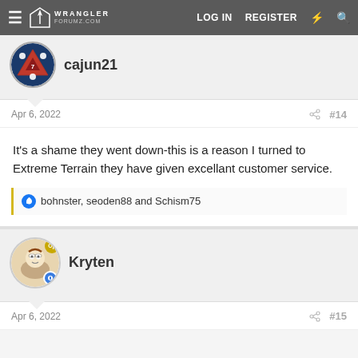LOG IN  REGISTER
cajun21
Apr 6, 2022  #14
It's a shame they went down-this is a reason I turned to Extreme Terrain they have given excellant customer service.
bohnster, seoden88 and Schism75
Kryten
Apr 6, 2022  #15